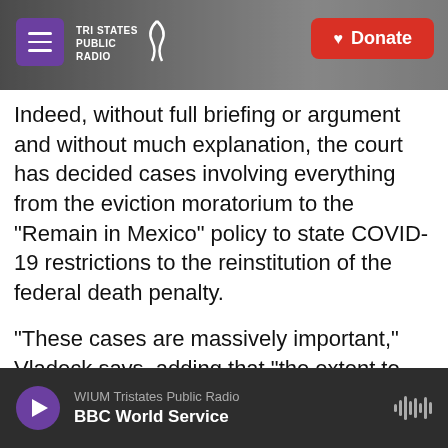Tri States Public Radio — Donate
Indeed, without full briefing or argument and without much explanation, the court has decided cases involving everything from the eviction moratorium to the "Remain in Mexico" policy to state COVID-19 restrictions to the reinstitution of the federal death penalty.
"These cases are massively important," Vladeck says, adding that "the extent to which the court is handing them down through a truncated and deeply invisible process really ought to concern even the people who think the court is getting [the result] right."
WIUM Tristates Public Radio — BBC World Service